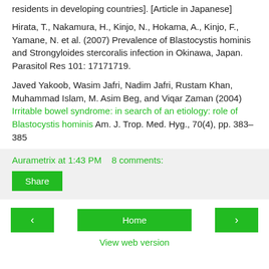residents in developing countries]. [Article in Japanese]
Hirata, T., Nakamura, H., Kinjo, N., Hokama, A., Kinjo, F., Yamane, N. et al. (2007) Prevalence of Blastocystis hominis and Strongyloides stercoralis infection in Okinawa, Japan. Parasitol Res 101: 17171719.
Javed Yakoob, Wasim Jafri, Nadim Jafri, Rustam Khan, Muhammad Islam, M. Asim Beg, and Viqar Zaman (2004) Irritable bowel syndrome: in search of an etiology: role of Blastocystis hominis Am. J. Trop. Med. Hyg., 70(4), pp. 383–385
Aurametrix at 1:43 PM   8 comments:
Share
Home
View web version